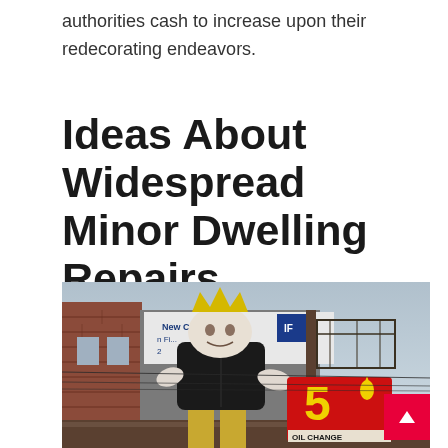authorities cash to increase upon their redecorating endeavors.
Ideas About Widespread Minor Dwelling Repairs
[Figure (photo): Large outdoor mascot statue of a king/crown figure wearing a dark shirt and gold pants, holding an oil change sign reading '5 OIL CHANGE'. In the background is a brick building, signage partially visible reading 'City of CDs' and 'n Fi...', a tall utility pole with scaffolding/platform, and an overcast sky.]